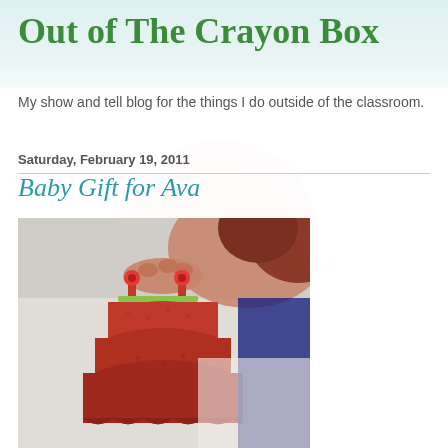Out of The Crayon Box
My show and tell blog for the things I do outside of the classroom.
Saturday, February 19, 2011
Baby Gift for Ava
[Figure (photo): Person holding a red tiered ruffled baby dress with flower accents at the straps, against a white sofa background]